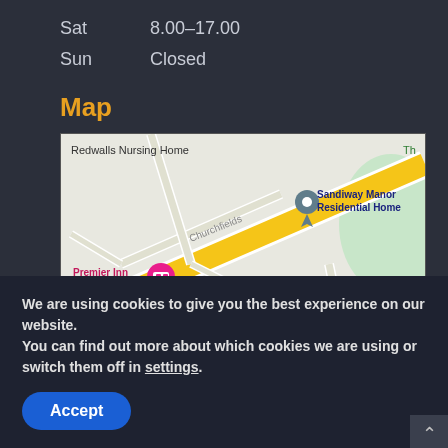Sat   8.00–17.00
Sun   Closed
Map
[Figure (map): Google Maps screenshot showing Sandiway Manor Residential Home location, with Redwalls Nursing Home, Churchfields road, Premier Inn ch (Sandiway), and a yellow diagonal road (A556). Map pin at Sandiway Manor Residential Home.]
We are using cookies to give you the best experience on our website.
You can find out more about which cookies we are using or switch them off in settings.
Accept